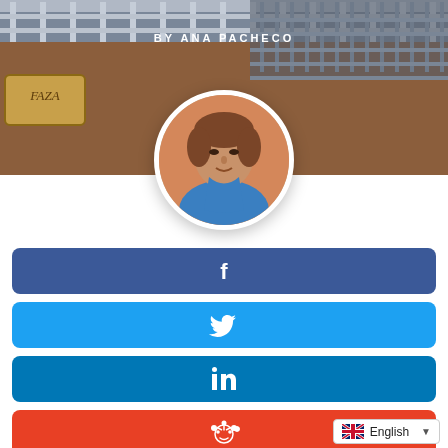[Figure (photo): Header background image showing a bridge/railing structure with brown/red tones and a sign reading 'FAZA']
BY ANA PACHECO
[Figure (photo): Circular profile photo of Ana Pacheco, a woman wearing a blue outfit, with short brown hair]
[Figure (infographic): Facebook share button (dark navy blue with white Facebook icon)]
[Figure (infographic): Twitter share button (light blue with white Twitter bird icon)]
[Figure (infographic): LinkedIn share button (medium blue with white LinkedIn 'in' icon)]
[Figure (infographic): Reddit share button (orange-red with white Reddit alien icon)]
English